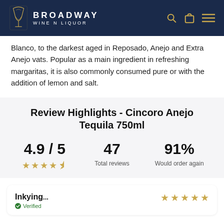BROADWAY WINE N LIQUOR
Blanco, to the darkest aged in Reposado, Anejo and Extra Anejo vats. Popular as a main ingredient in refreshing margaritas, it is also commonly consumed pure or with the addition of lemon and salt.
Review Highlights - Cincoro Anejo Tequila 750ml
4.9 / 5 — 4.9 out of 5 stars. 47 Total reviews. 91% Would order again.